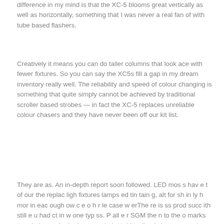difference in my mind is that the XC-5 blooms great vertically as well as horizontally, something that I was never a real fan of with tube based flashers.
Creatively it means you can do taller columns that look ace with fewer fixtures. So you can say the XC5s fill a gap in my dream inventory really well. The reliability and speed of colour changing is something that quite simply cannot be achieved by traditional scroller based strobes — in fact the XC-5 replaces unreliable colour chasers and they have never been off our kit list.
They are as. An in-depth report soon followed. LED mos s hav e t of our the replac ligh fixtures lamps ed tin tain g, alt for sh in ly h mor in eac ough ow c e o h r le case w erThe re is ss prod succ ith still e u had ct in w one typ ss. P all e r SGM the n to the o marks ter c bein , an Ita had omman industr his g li y d t h conn acquir an com offer is g re of SG at e p a s the t oisseur d by the any fou load us his X t idea M, w im e a digit e bat ill reme RCF G nded in We d with -5, a str nd t r m a put whit obe mem l gobos ery-pow ber pe oup in , le o a n n 2 r o.
You will see. The start of the software that was a con flume was with...